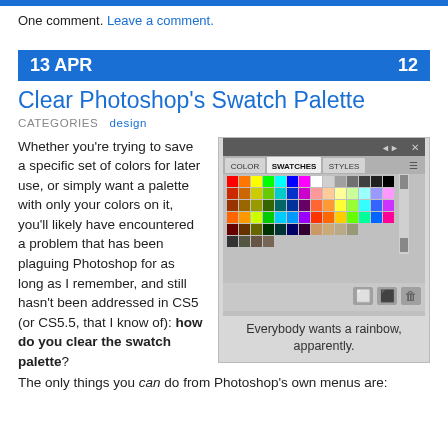One comment. Leave a comment.
13 APR  12
Clear Photoshop's Swatch Palette
CATEGORIES   design
Whether you're trying to save a specific set of colors for later use, or simply want a palette with only your colors on it, you'll likely have encountered a problem that has been plaguing Photoshop for as long as I remember, and still hasn't been addressed in CS5 (or CS5.5, that I know of): how do you clear the swatch palette?
[Figure (screenshot): Photoshop Swatches panel showing a rainbow color palette grid with tabs for COLOR, SWATCHES, STYLES]
Everybody wants a rainbow, apparently.
The only things you can do from Photoshop's own menus are: